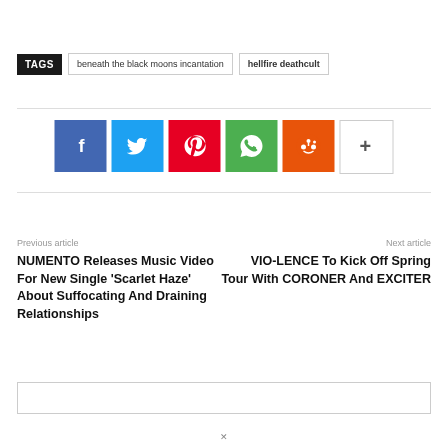TAGS   beneath the black moons incantation   hellfire deathcult
[Figure (infographic): Social share buttons: Facebook (blue), Twitter (light blue), Pinterest (red), WhatsApp (green), Reddit (orange), More/Plus (white with border)]
Previous article
NUMENTO Releases Music Video For New Single ‘Scarlet Haze’ About Suffocating And Draining Relationships
Next article
VIO-LENCE To Kick Off Spring Tour With CORONER And EXCITER